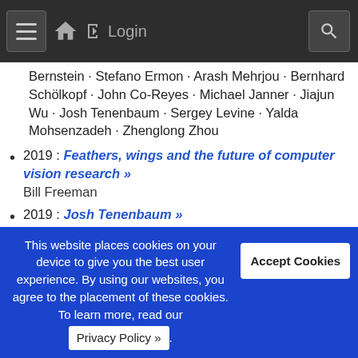☰  🏠  ➜ Login  🔍
Bernstein · Stefano Ermon · Arash Mehrjou · Bernhard Schölkopf · John Co-Reyes · Michael Janner · Jiajun Wu · Josh Tenenbaum · Sergey Levine · Yalda Mohsenzadeh · Zhenglong Zhou
2019 : Feathers, wings and the future of computer vision research »
Bill Freeman
2019 : Josh Tenenbaum »
Josh Tenenbaum
2019 Poster: Write, Execute, Assess: Program Synthesis with a REPL »
Kevin Ellis · Maxwell Nye · Yewen Pu · Felix Sosa · Josh Tenenbaum · Armando Solar-Lezama
2019 Poster: ObjectNet: A large-scale bias-controlled
This website places cookies on your device to give you the best user experience. By using our websites, you agree to the placement of these cookies. To learn more, read our Privacy Policy ».